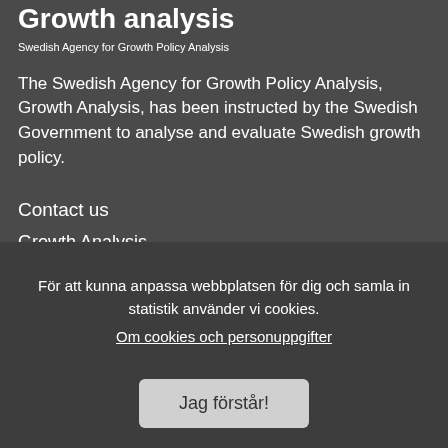Growth analysis
Swedish Agency for Growth Policy Analysis
The Swedish Agency for Growth Policy Analysis, Growth Analysis, has been instructed by the Swedish Government to analyse and evaluate Swedish growth policy.
Contact us
Growth Analysis
Studentplan 3
S-831 40 Östersund, Sweden
Phone +46 10-447 44 00
Contact staff...
För att kunna anpassa webbplatsen för dig och samla in statistik använder vi cookies.
Om cookies och personuppgifter
Jag förstår!